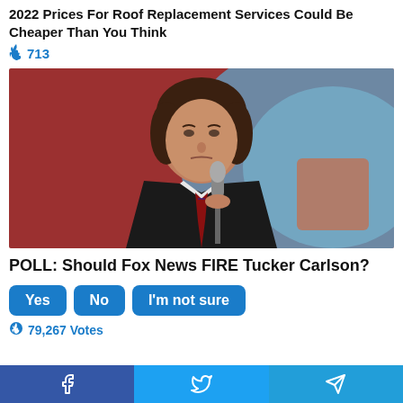2022 Prices For Roof Replacement Services Could Be Cheaper Than You Think
🔥 713
[Figure (photo): Photo of Tucker Carlson in a dark suit holding a microphone, looking upward, with a blurred red and blue background]
POLL: Should Fox News FIRE Tucker Carlson?
Yes   No   I'm not sure
🔥 79,267 Votes
Facebook share | Twitter share | Telegram share